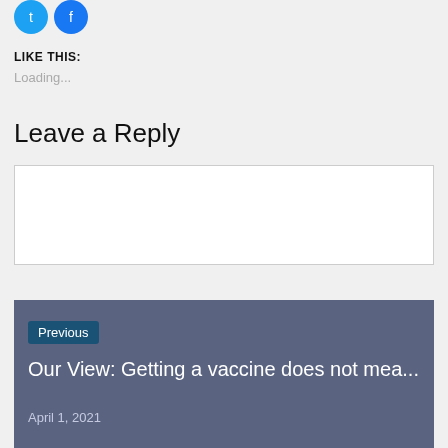[Figure (other): Two circular social media share buttons (blue icons)]
LIKE THIS:
Loading...
Leave a Reply
Enter your comment here...
Previous
Our View: Getting a vaccine does not mea...
April 1, 2021